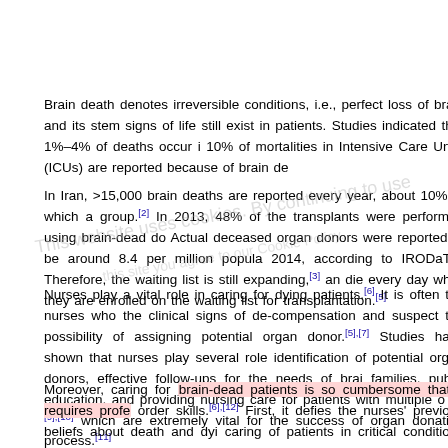Brain death denotes irreversible conditions, i.e., perfect loss of brain and its stem signs of life still exist in patients. Studies indicated that 1%–4% of deaths occur i 10% of mortalities in Intensive Care Units (ICUs) are reported because of brain de
In Iran, >15,000 brain deaths are reported every year, about 10% of which a group.[2] In 2013, 48% of the transplants were performed using brain-dead do Actual deceased organ donors were reported to be around 8.4 per million popula 2014, according to IRODaT.[4] Therefore, the waiting list is still expanding,[3] an die every day while they are enrolled on the waiting list for transplantation.[5]
Nurses play a vital role in caring for dying patients.[6] It is often the nurses who the clinical signs of de-compensation and suspect the possibility of assigning potential organ donor.[5],[7] Studies have shown that nurses play several role identification of potential organ donors, effective follow-ups for the needs of brai families, public education, and providing nursing care for patients with multiple o [8],[9],[10] which are extremely vital for the success of organ donation process.[11]
Moreover, caring for brain-dead patients is so cumbersome that it requires profe order skills.[6],[12] First, it defies the nurses' previous beliefs about death and dyi caring of patients in critical conditions and dealing with the stresses impos